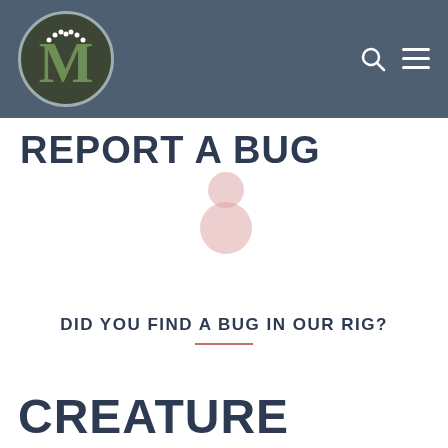M [logo with navigation icons]
REPORT A BUG
[Figure (illustration): Decorative bug icon made of two pink/rose-colored circles, resembling a stylized insect body, positioned near the title text]
DID YOU FIND A BUG IN OUR RIG?
CREATURE